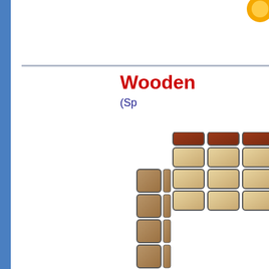Wooden
(Sp
[Figure (photo): A wooden Rubik's cube-style puzzle, showing wooden tiles in light and dark reddish-brown colors arranged in a 3x3 grid pattern on visible faces.]